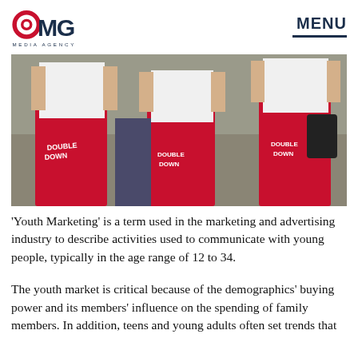CMG MEDIA AGENCY | MENU
[Figure (photo): Two people wearing red sweatpants with text on the back, white tank tops, standing outdoors on stone steps. A third person visible in background.]
‘Youth Marketing’ is a term used in the marketing and advertising industry to describe activities used to communicate with young people, typically in the age range of 12 to 34.
The youth market is critical because of the demographics’ buying power and its members’ influence on the spending of family members. In addition, teens and young adults often set trends that